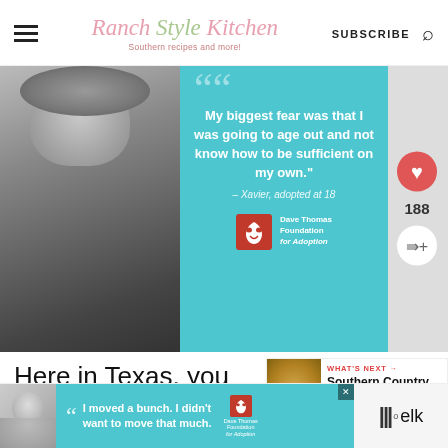Ranch Style Kitchen — Southern recipes and more! | SUBSCRIBE
[Figure (photo): Advertisement: Black and white photo of a young man wearing a beanie hat and winter jacket, next to a teal/blue panel with a quote: 'My biggest fear was that I was going to age out and not know how to be sufficient on my own.' – Xavier, adopted at 18. Dave Thomas Foundation for Adoption logo.]
Here in Texas, you don't see here out grazing in the pastures but thanks to a ...nd his fr... e elk
[Figure (infographic): What's Next badge: Bowl of gravy image with text 'WHAT'S NEXT → Southern Country Gravy']
[Figure (photo): Bottom advertisement: Photo of a young boy, teal panel with quote icon and text 'I moved a bunch. I didn't want to move that much.' Dave Thomas Foundation for Adoption logo. Close X button.]